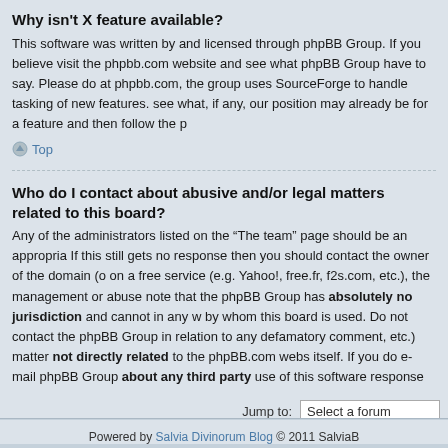Why isn't X feature available?
This software was written by and licensed through phpBB Group. If you believe visit the phpbb.com website and see what phpBB Group have to say. Please do at phpbb.com, the group uses SourceForge to handle tasking of new features. see what, if any, our position may already be for a feature and then follow the p
Top
Who do I contact about abusive and/or legal matters related to this board?
Any of the administrators listed on the “The team” page should be an appropria If this still gets no response then you should contact the owner of the domain (o on a free service (e.g. Yahoo!, free.fr, f2s.com, etc.), the management or abuse note that the phpBB Group has absolutely no jurisdiction and cannot in any w by whom this board is used. Do not contact the phpBB Group in relation to any defamatory comment, etc.) matter not directly related to the phpBB.com webs itself. If you do e-mail phpBB Group about any third party use of this software response or no response at all.
Top
Jump to:  Select a forum
Board index  The team • Delete all
Powered by Salvia Divinorum Blog © 2011 SalviaB